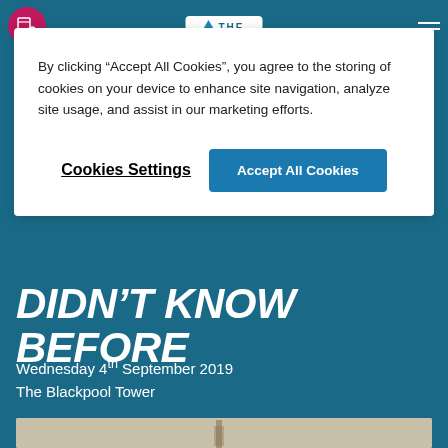THE [logo]
By clicking “Accept All Cookies”, you agree to the storing of cookies on your device to enhance site navigation, analyze site usage, and assist in our marketing efforts.
Cookies Settings
Accept All Cookies
DIDN’T KNOW BEFORE
Wednesday 4th September 2019
The Blackpool Tower
[Figure (photo): Photograph of the Blackpool Tower against a pale sky]